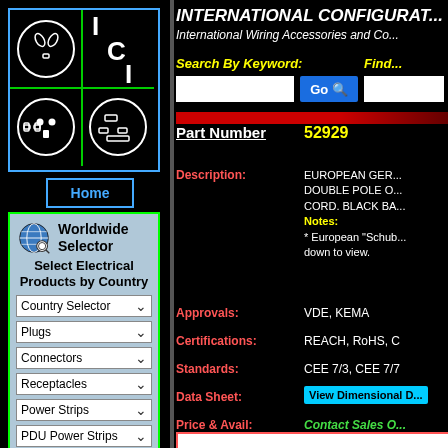[Figure (logo): ICI logo with electrical outlet symbols in a blue-bordered box divided into quadrants with green lines]
Home
[Figure (other): Worldwide Selector panel with globe icon, dropdowns for Country Selector, Plugs, Connectors, Receptacles, Power Strips, PDU Power Strips, Power Cords]
INTERNATIONAL CONFIGURAT... International Wiring Accessories and Co...
Search By Keyword:
Find...
| Field | Value |
| --- | --- |
| Part Number | 52929 |
| Description: | EUROPEAN GER... DOUBLE POLE O... CORD. BLACK BA... Notes: * European "Schub... down to view. |
| Approvals: | VDE, KEMA |
| Certifications: | REACH, RoHS, C |
| Standards: | CEE 7/3, CEE 7/7 |
| Data Sheet: | View Dimensional D... |
| Price & Avail: | Contact Sales O... |